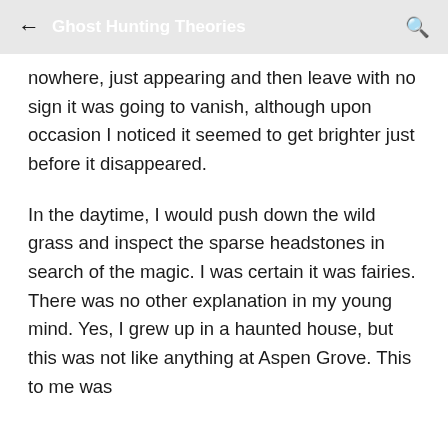← Ghost Hunting Theories 🔍
nowhere, just appearing and then leave with no sign it was going to vanish, although upon occasion I noticed it seemed to get brighter just before it disappeared.
In the daytime, I would push down the wild grass and inspect the sparse headstones in search of the magic. I was certain it was fairies. There was no other explanation in my young mind. Yes, I grew up in a haunted house, but this was not like anything at Aspen Grove. This to me was